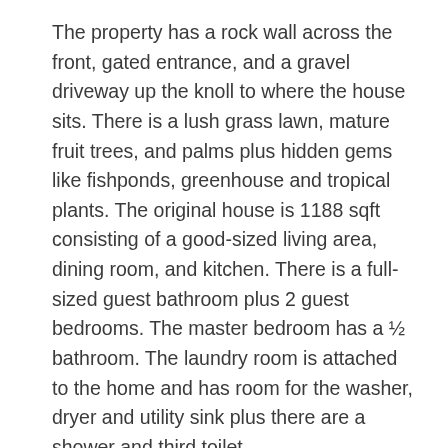The property has a rock wall across the front, gated entrance, and a gravel driveway up the knoll to where the house sits. There is a lush grass lawn, mature fruit trees, and palms plus hidden gems like fishponds, greenhouse and tropical plants. The original house is 1188 sqft consisting of a good-sized living area, dining room, and kitchen. There is a full-sized guest bathroom plus 2 guest bedrooms. The master bedroom has a ½ bathroom. The laundry room is attached to the home and has room for the washer, dryer and utility sink plus there are a shower and third toilet.
There are two great bonus areas in the home.